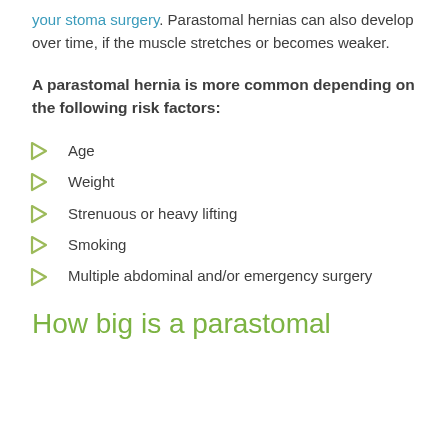your stoma surgery. Parastomal hernias can also develop over time, if the muscle stretches or becomes weaker.
A parastomal hernia is more common depending on the following risk factors:
Age
Weight
Strenuous or heavy lifting
Smoking
Multiple abdominal and/or emergency surgery
How big is a parastomal